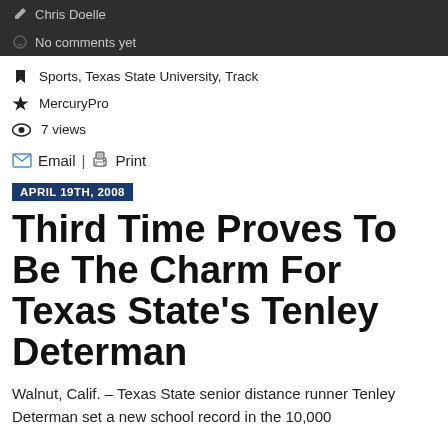Chris Doelle
No comments yet
Sports, Texas State University, Track
MercuryPro
7 views
Email | Print
APRIL 19TH, 2008
Third Time Proves To Be The Charm For Texas State's Tenley Determan
Walnut, Calif. – Texas State senior distance runner Tenley Determan set a new school record in the 10,000